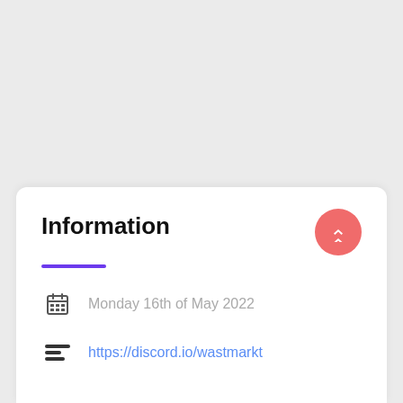Information
Monday 16th of May 2022
https://discord.io/wastmarkt